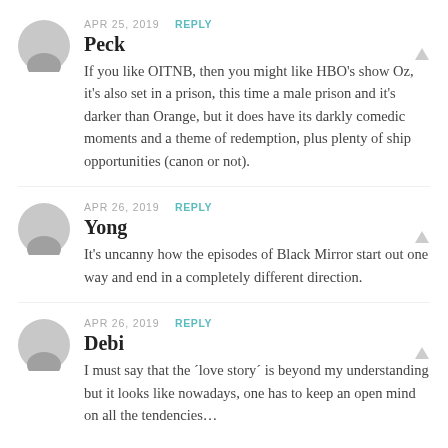APR 25, 2019  REPLY
Peck
If you like OITNB, then you might like HBO's show Oz, it's also set in a prison, this time a male prison and it's darker than Orange, but it does have its darkly comedic moments and a theme of redemption, plus plenty of ship opportunities (canon or not).
APR 26, 2019  REPLY
Yong
It's uncanny how the episodes of Black Mirror start out one way and end in a completely different direction.
APR 26, 2019  REPLY
Debi
I must say that the ´love story´ is beyond my understanding but it looks like nowadays, one has to keep an open mind on all the tendencies…